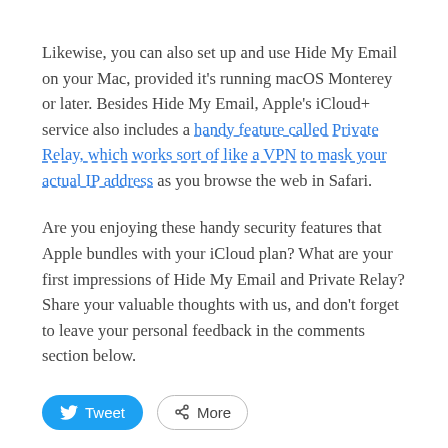Likewise, you can also set up and use Hide My Email on your Mac, provided it's running macOS Monterey or later. Besides Hide My Email, Apple's iCloud+ service also includes a handy feature called Private Relay, which works sort of like a VPN to mask your actual IP address as you browse the web in Safari.
Are you enjoying these handy security features that Apple bundles with your iCloud plan? What are your first impressions of Hide My Email and Private Relay? Share your valuable thoughts with us, and don't forget to leave your personal feedback in the comments section below.
Tweet | More
Related